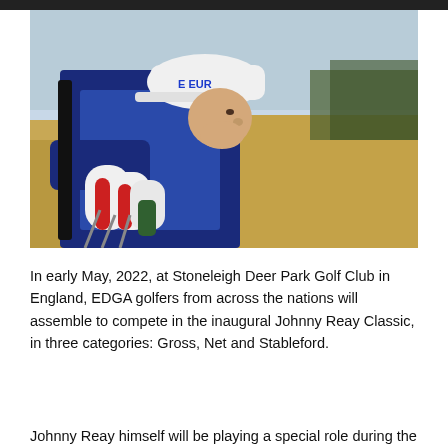[Figure (photo): A golfer wearing a white beanie hat with 'EUR' text visible, a blue vest over a dark blue jacket, carrying a golf bag with white and red golf club head covers, leaning forward outdoors with dry grass/reeds in the background.]
In early May, 2022, at Stoneleigh Deer Park Golf Club in England, EDGA golfers from across the nations will assemble to compete in the inaugural Johnny Reay Classic, in three categories: Gross, Net and Stableford.
Johnny Reay himself will be playing a special role during the